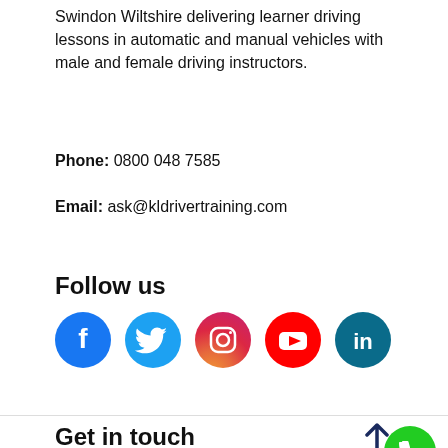Swindon Wiltshire delivering learner driving lessons in automatic and manual vehicles with male and female driving instructors.
Phone: 0800 048 7585
Email: ask@kldrivertraining.com
Follow us
[Figure (infographic): Row of five social media icons: Facebook (blue circle), Twitter (light blue circle), Instagram (pink/red gradient circle), YouTube (red circle), LinkedIn (dark teal circle)]
Get in touch
Your Name*
Call Now: 0800 048 7585